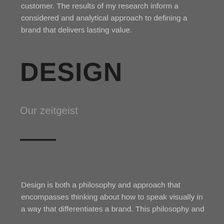customer. The results of my research inform a considered and analytical approach to defining a brand that delivers lasting value.
DESIGN
Our zeitgeist
[Figure (other): A short horizontal black rule/divider line]
Design is both a philosophy and approach that encompasses thinking about how to speak visually in a way that differentiates a brand. This philosophy and